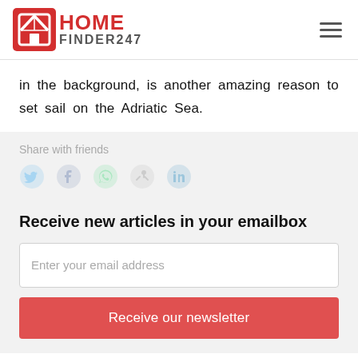[Figure (logo): HomeFinder247 logo with red house icon and red HOME text above gray FINDER247 text]
in the background, is another amazing reason to set sail on the Adriatic Sea.
Share with friends
[Figure (illustration): Social media share icons: Twitter, Facebook, WhatsApp, share/link, LinkedIn]
Receive new articles in your emailbox
Enter your email address
Receive our newsletter